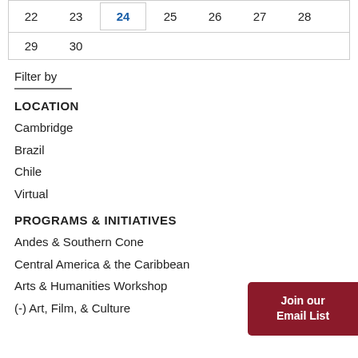| 22 | 23 | 24 | 25 | 26 | 27 | 28 |
| --- | --- | --- | --- | --- | --- | --- |
| 29 | 30 |  |  |  |  |  |
Filter by
LOCATION
Cambridge
Brazil
Chile
Virtual
PROGRAMS & INITIATIVES
Andes & Southern Cone
Central America & the Caribbean
Arts & Humanities Workshop
(-) Art, Film, & Culture
Join our Email List